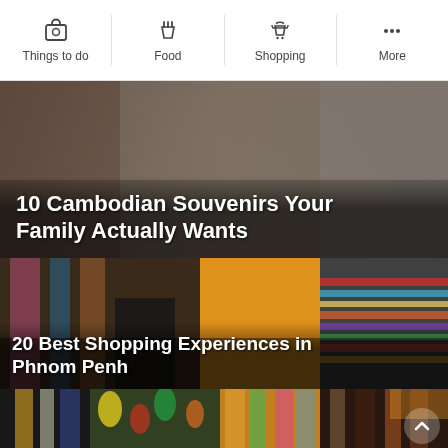Things to do | Food | Shopping | More
10 Cambodian Souvenirs Your Family Actually Wants
[Figure (photo): Market scene with blurred colorful merchandise, Cambodia]
20 Best Shopping Experiences in Phnom Penh
[Figure (photo): Indoor market in Phnom Penh with shoppers browsing colorful clothing stalls and stacked fabrics]
[Figure (photo): Night market with hanging bags, colorful lamps and merchandise in Cambodia]